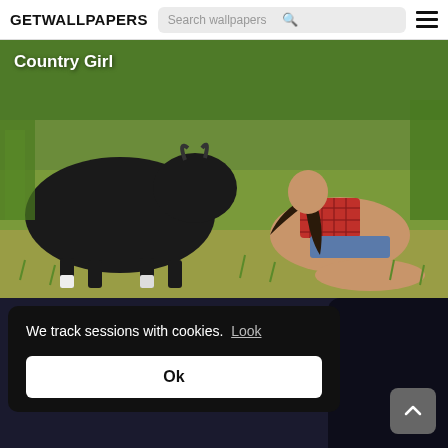GETWALLPAPERS
[Figure (screenshot): Website header with GETWALLPAPERS logo, search bar labeled 'Search wallpapers', and hamburger menu icon]
[Figure (photo): Country Girl wallpaper: a young woman in a plaid crop top and denim shorts kneeling on grass facing a black cow, with green field in background. Text overlay reads 'Country Girl']
We track sessions with cookies. Look
Ok